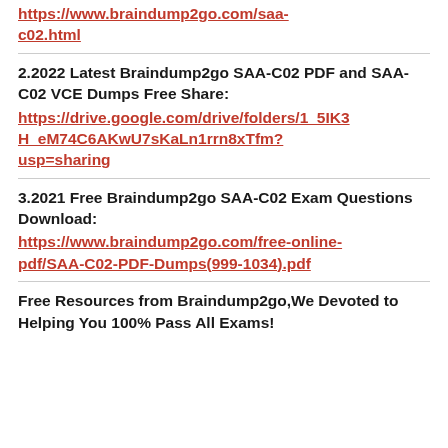https://www.braindump2go.com/saa-c02.html
2.2022 Latest Braindump2go SAA-C02 PDF and SAA-C02 VCE Dumps Free Share: https://drive.google.com/drive/folders/1_5IK3H_eM74C6AKwU7sKaLn1rrn8xTfm?usp=sharing
3.2021 Free Braindump2go SAA-C02 Exam Questions Download: https://www.braindump2go.com/free-online-pdf/SAA-C02-PDF-Dumps(999-1034).pdf
Free Resources from Braindump2go,We Devoted to Helping You 100% Pass All Exams!